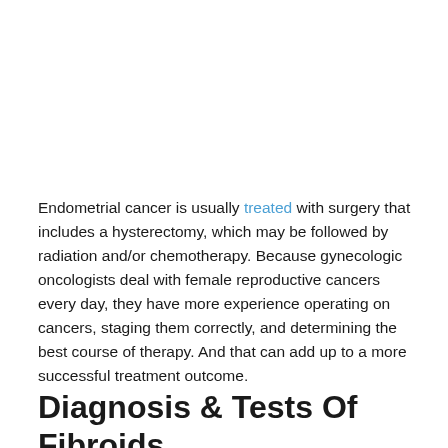Endometrial cancer is usually treated with surgery that includes a hysterectomy, which may be followed by radiation and/or chemotherapy. Because gynecologic oncologists deal with female reproductive cancers every day, they have more experience operating on cancers, staging them correctly, and determining the best course of therapy. And that can add up to a more successful treatment outcome.
Diagnosis & Tests Of Fibroids